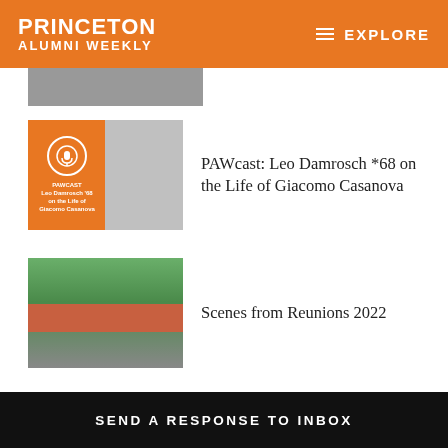PRINCETON ALUMNI WEEKLY — EXPLORE
[Figure (photo): Partial thumbnail image strip at top of content area]
[Figure (photo): PAWcast thumbnail with orange background, podcast microphone icon, and black-and-white photo of Leo Damrosch]
PAWcast: Leo Damrosch *68 on the Life of Giacomo Casanova
[Figure (photo): Outdoor photo of Princeton campus buildings with people walking on green lawn]
Scenes from Reunions 2022
[Figure (photo): Indoor photo of group discussion with Katherine Clifton]
Katherine Clifton '15 Is Listening to the Stories of Refugees
[Figure (photo): Partially visible thumbnail at bottom of content area]
SEND A RESPONSE TO INBOX